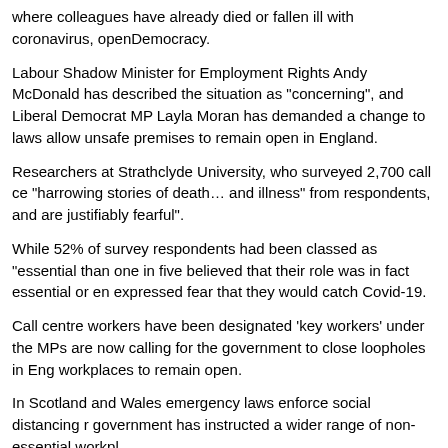where colleagues have already died or fallen ill with coronavirus, openDemocracy.
Labour Shadow Minister for Employment Rights Andy McDonald has described the situation as "concerning", and Liberal Democrat MP Layla Moran has demanded a change to laws that allow unsafe premises to remain open in England.
Researchers at Strathclyde University, who surveyed 2,700 call centre workers, heard "harrowing stories of death... and illness" from respondents, and said that workers "are justifiably fearful".
While 52% of survey respondents had been classed as "essential workers", fewer than one in five believed that their role was in fact essential or enables, and 60% expressed fear that they would catch Covid-19.
Call centre workers have been designated 'key workers' under the government's plans. MPs are now calling for the government to close loopholes in England that allow unsafe workplaces to remain open.
In Scotland and Wales emergency laws enforce social distancing rules, and the Welsh government has instructed a wider range of non-essential workplaces to close.
But in England, there are no new laws requiring bosses to comply with guidance in many non-essential workplaces.
The Strathclyde University survey, which included workers at a range of